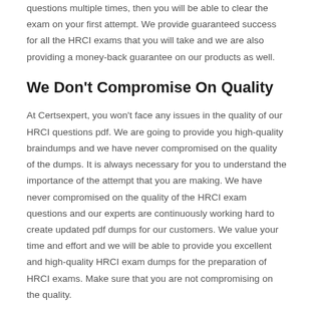questions multiple times, then you will be able to clear the exam on your first attempt. We provide guaranteed success for all the HRCI exams that you will take and we are also providing a money-back guarantee on our products as well.
We Don't Compromise On Quality
At Certsexpert, you won't face any issues in the quality of our HRCI questions pdf. We are going to provide you high-quality braindumps and we have never compromised on the quality of the dumps. It is always necessary for you to understand the importance of the attempt that you are making. We have never compromised on the quality of the HRCI exam questions and our experts are continuously working hard to create updated pdf dumps for our customers. We value your time and effort and we will be able to provide you excellent and high-quality HRCI exam dumps for the preparation of HRCI exams. Make sure that you are not compromising on the quality.